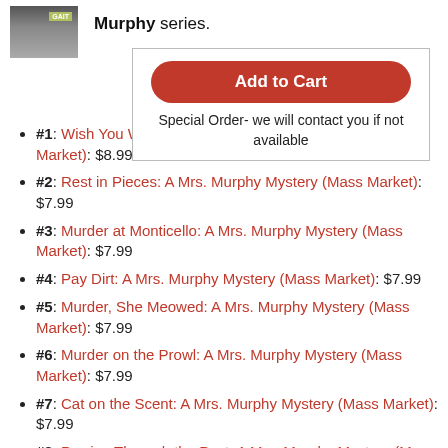Murphy series.
Add to Cart
Special Order- we will contact you if not available
#1: Wish You Were Here: A Mrs. Murphy Mystery (Mass Market): $8.99
#2: Rest in Pieces: A Mrs. Murphy Mystery (Mass Market): $7.99
#3: Murder at Monticello: A Mrs. Murphy Mystery (Mass Market): $7.99
#4: Pay Dirt: A Mrs. Murphy Mystery (Mass Market): $7.99
#5: Murder, She Meowed: A Mrs. Murphy Mystery (Mass Market): $7.99
#6: Murder on the Prowl: A Mrs. Murphy Mystery (Mass Market): $7.99
#7: Cat on the Scent: A Mrs. Murphy Mystery (Mass Market): $7.99
#8: Pawing Through the Past: A Mrs. Murphy Mystery (Mass Market): $8.99
#9: Claws and Effect: A Mrs. Murphy Mystery (Mass Market): $7.99